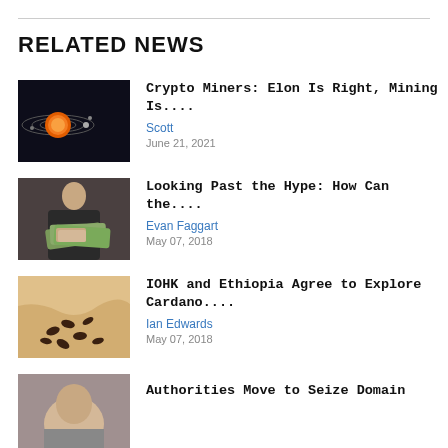RELATED NEWS
[Figure (photo): Solar system illustration with orange sun and orbital rings]
Crypto Miners: Elon Is Right, Mining Is....
Scott
June 21, 2021
[Figure (photo): Woman in dark jacket holding fan of dollar bills, smiling]
Looking Past the Hype: How Can the....
Evan Faggart
May 07, 2018
[Figure (photo): Coffee beans scattered on a map]
IOHK and Ethiopia Agree to Explore Cardano....
Ian Edwards
May 07, 2018
[Figure (photo): Partial image - person's face, cropped at bottom of page]
Authorities Move to Seize Domain